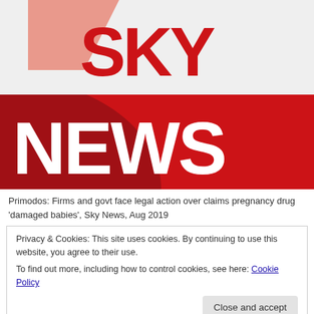[Figure (logo): Sky News logo. Top half: 'SKY' in large red bold text on light grey background with a salmon/coral geometric shape. Bottom half: 'NEWS' in large white bold text on red background with dark red arc.]
Primodos: Firms and govt face legal action over claims pregnancy drug 'damaged babies', Sky News, Aug 2019
Privacy & Cookies: This site uses cookies. By continuing to use this website, you agree to their use.
To find out more, including how to control cookies, see here: Cookie Policy
[Figure (bar-chart): Partial bar chart visible at bottom of page showing bars and a legend referencing 'Renal malformations (n = 33)' and 'Multiple major']